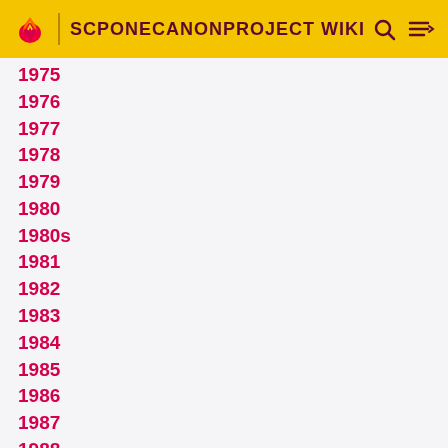SCPONECANONPROJECT WIKI
1975
1976
1977
1978
1979
1980
1980s
1981
1982
1983
1984
1985
1986
1987
1988
1989
1990
1990s
1991
1992
1993
1994